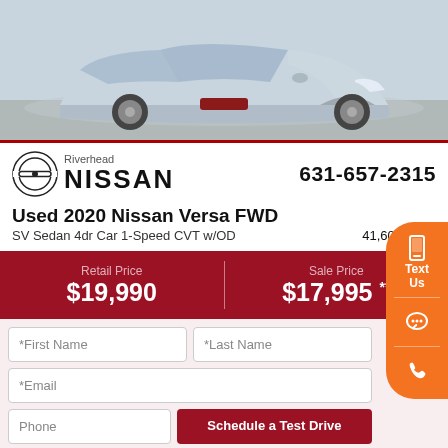[Figure (photo): Front view of a silver 2020 Nissan Versa sedan on a parking lot surface]
Riverhead NISSAN | 631-657-2315
Used 2020 Nissan Versa FWD
SV Sedan 4dr Car 1-Speed CVT w/OD | 41,600 Miles
| Retail Price | Sale Price |
| --- | --- |
| $19,990 | $17,995 ** |
*First Name | *Last Name
*Email
Phone | Schedule a Test Drive
Your web browser (iOS 11) is out of date. Update your browser for more security, speed and the best experience on this site.
Update browser | Ignore